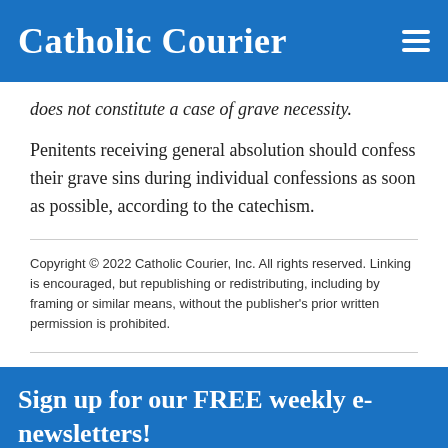Catholic Courier
does not constitute a case of grave necessity.
Penitents receiving general absolution should confess their grave sins during individual confessions as soon as possible, according to the catechism.
Copyright © 2022 Catholic Courier, Inc. All rights reserved. Linking is encouraged, but republishing or redistributing, including by framing or similar means, without the publisher's prior written permission is prohibited.
Sign up for our FREE weekly e-newsletters!
Choose from news (Monday), leisure (Thursday) or worship (Saturday) — or get all three!